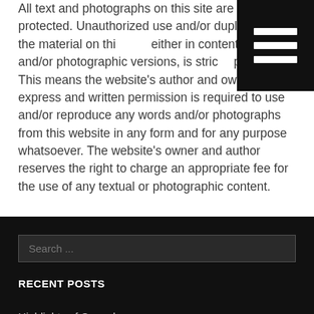All text and photographs on this site are copyright-protected. Unauthorized use and/or duplication of the material on this site, either in content text and/or photographic versions, is strictly prohibited. This means the website's author and owner's prior express and written permission is required to use and/or reproduce any words and/or photographs from this website in any form and for any purpose whatsoever. The website's owner and author reserves the right to charge an appropriate fee for the use of any textual or photographic content.
[Figure (other): Hamburger menu icon — three white horizontal bars on black background]
RECENT POSTS
Highlights of Copenhagen
A Day at Windsor Castle